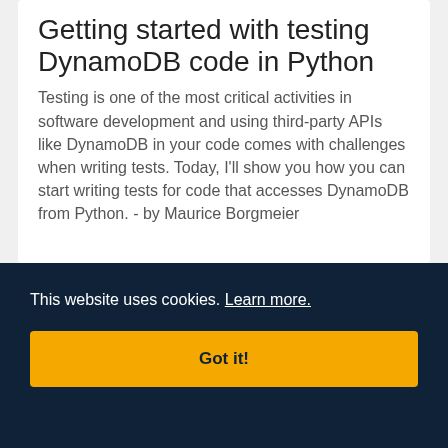Getting started with testing DynamoDB code in Python
Testing is one of the most critical activities in software development and using third-party APIs like DynamoDB in your code comes with challenges when writing tests. Today, I'll show you how you can start writing tests for code that accesses DynamoDB from Python. - by Maurice Borgmeier
This website uses cookies. Learn more.
Got it!